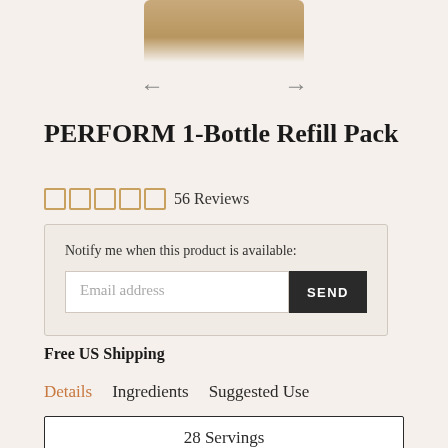[Figure (photo): Top portion of a product bottle with tan/beige color, partially cropped at the top of the page]
← →  (navigation arrows)
PERFORM 1-Bottle Refill Pack
□□□□□ 56 Reviews
Notify me when this product is available:
Email address  SEND
Free US Shipping
Details  Ingredients  Suggested Use
28 Servings